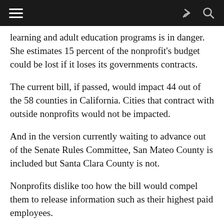learning and adult education programs is in danger. She estimates 15 percent of the nonprofit’s budget could be lost if it loses its governments contracts.
The current bill, if passed, would impact 44 out of the 58 counties in California. Cities that contract with outside nonprofits would not be impacted.
And in the version currently waiting to advance out of the Senate Rules Committee, San Mateo County is included but Santa Clara County is not.
Nonprofits dislike too how the bill would compel them to release information such as their highest paid employees.